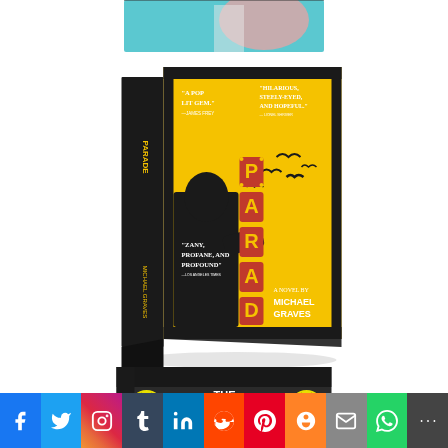[Figure (photo): Partial book cover visible at top of page - colorful illustrated cover partially cropped]
[Figure (photo): Book cover of 'PARADE' by Michael Graves - yellow cover with black silhouette of a figure, marquee-style letters spelling PARADE, birds flying, quotes reading 'A pop lit gem.' -James Frey, 'Hilarious, steely-eyed, and hopeful.' -Lionel Shriver, 'Zany, profane, and profound' -Los Angeles Times, A Novel by Michael Graves]
[Figure (photo): Partial book cover visible at bottom - 'The Dark State Trilogy' with radiation symbols, dark distressed design]
[Figure (other): Social media sharing bar with icons for Facebook, Twitter, Instagram, Tumblr, LinkedIn, Reddit, Pinterest, Mix, Email, WhatsApp, More]